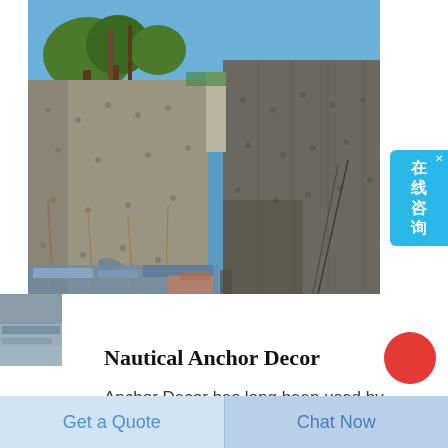[Figure (photo): Construction site photograph showing large concrete retaining walls under construction, with trees visible in the background against a blue sky. Construction materials and equipment are visible at the base.]
Nautical Anchor Decor
Anchor Decor has long been used by those in the nautical community to represent stability hope and promise Here at
[Figure (other): Chinese language live chat widget button on the right side reading '在线咨询' (online consultation) in white text on blue background]
[Figure (other): Red circular chat/help button in bottom right area]
Get a Quote
Chat Now